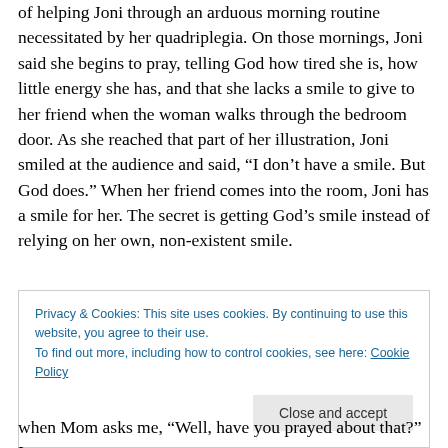of helping Joni through an arduous morning routine necessitated by her quadriplegia. On those mornings, Joni said she begins to pray, telling God how tired she is, how little energy she has, and that she lacks a smile to give to her friend when the woman walks through the bedroom door. As she reached that part of her illustration, Joni smiled at the audience and said, “I don’t have a smile. But God does.” When her friend comes into the room, Joni has a smile for her. The secret is getting God’s smile instead of relying on her own, non-existent smile.
Privacy & Cookies: This site uses cookies. By continuing to use this website, you agree to their use. To find out more, including how to control cookies, see here: Cookie Policy
when Mom asks me, “Well, have you prayed about that?” I